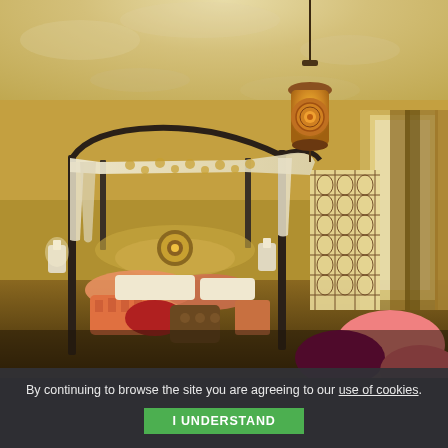[Figure (photo): Interior bedroom photo showing a Moroccan/bohemian style room with a wrought-iron canopy bed draped with white and gold patterned fabric. The room has textured cream/tan walls and ceiling, colorful pillows (orange, red, pink, purple) on the bed, a decorative mosaic pendant light hanging from the ceiling, a Moorish-style lattice screen panel on the right side, and a window with curtains. In the foreground are pink and purple fluffy pillows/poufs.]
By continuing to browse the site you are agreeing to our use of cookies.
I UNDERSTAND